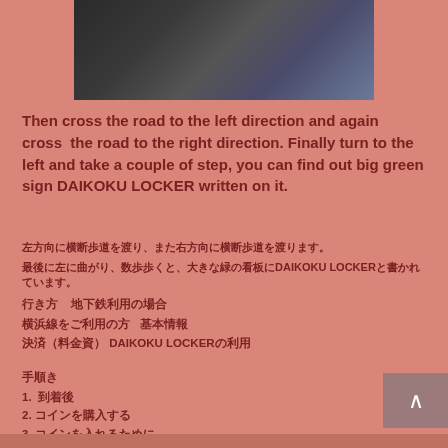[Figure (photo): Dark blurry photo of a road or outdoor scene with dark grey and blue tones]
Then cross the road to the left direction and again cross the road to the right direction. Finally turn to the left and take a couple of step, you can find out big green sign DAIKOKU LOCKER written on it.
[Japanese text line 1]
[Japanese text line 2]
[Japanese text group rows with DAIKOKU LOCKER reference]
[Japanese label]
1. [Japanese]
2. [Japanese]
3. [Japanese]
4. [Japanese]
([Japanese text]  DAIKOKU([Japanese])[Japanese])